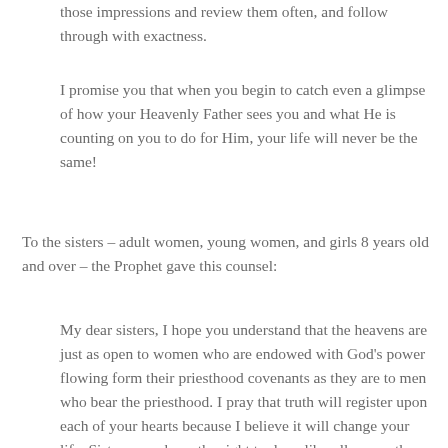those impressions and review them often, and follow through with exactness.
I promise you that when you begin to catch even a glimpse of how your Heavenly Father sees you and what He is counting on you to do for Him, your life will never be the same!
To the sisters – adult women, young women, and girls 8 years old and over – the Prophet gave this counsel:
My dear sisters, I hope you understand that the heavens are just as open to women who are endowed with God's power flowing form their priesthood covenants as they are to men who bear the priesthood. I pray that truth will register upon each of your hearts because I believe it will change your life. Sisters, you have the right to draw liberally upon the Savior's power to help your